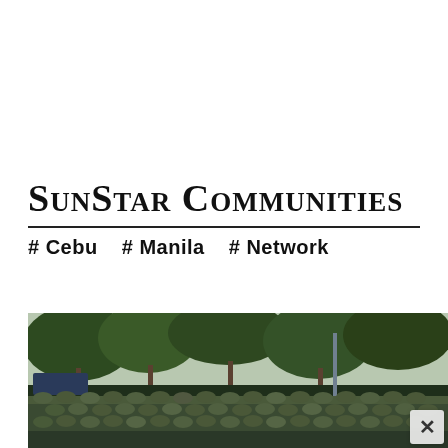Sunstar Communities
# Cebu  # Manila  # Network
[Figure (photo): A large group of soldiers in camouflage uniforms assembled outdoors with trees in the background, viewed from behind/side angle.]